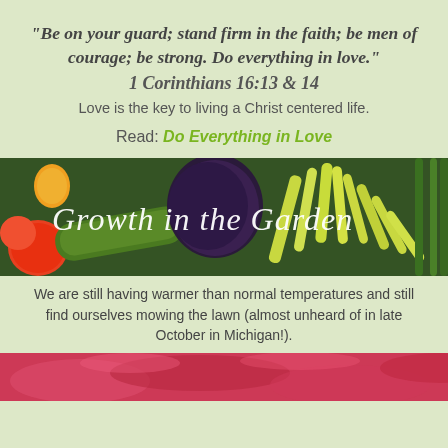"Be on your guard;  stand firm in the faith;  be men of courage;  be strong.  Do everything in love."
1 Corinthians 16:13 & 14
Love is the key to living a Christ centered life.
Read: Do Everything in Love
[Figure (photo): Photo banner of assorted garden vegetables with cursive text overlay reading 'Growth in the Garden']
We are still having warmer than normal temperatures and still find ourselves mowing the lawn (almost unheard of in late October in Michigan!).
[Figure (photo): Partial bottom image showing red/pink tones, possibly a flower or vegetable close-up]